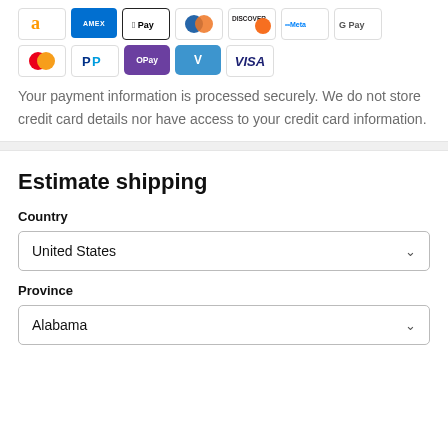[Figure (other): Row of payment method icons: Amazon, Amex, Apple Pay, Diners Club, Discover, Meta Pay, Google Pay, Mastercard, PayPal, OPay, Venmo, Visa]
Your payment information is processed securely. We do not store credit card details nor have access to your credit card information.
Estimate shipping
Country
United States
Province
Alabama